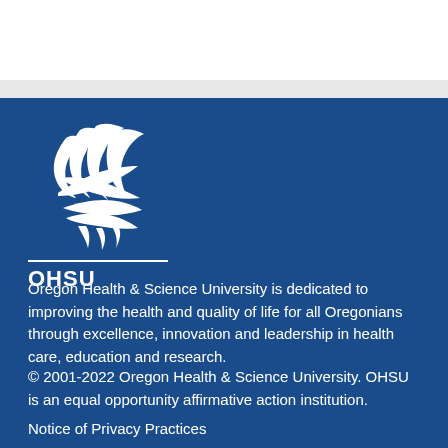[Figure (logo): OHSU (Oregon Health & Science University) logo — white flame/eagle symbol above a horizontal line with OHSU text]
Oregon Health & Science University is dedicated to improving the health and quality of life for all Oregonians through excellence, innovation and leadership in health care, education and research.
© 2001-2022 Oregon Health & Science University. OHSU is an equal opportunity affirmative action institution.
Notice of Privacy Practices